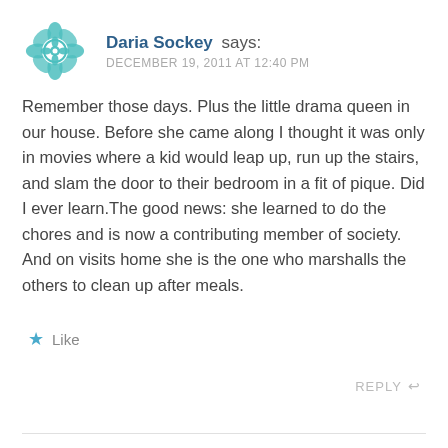[Figure (illustration): Teal decorative mandala/flower avatar icon]
Daria Sockey says:
DECEMBER 19, 2011 AT 12:40 PM
Remember those days. Plus the little drama queen in our house. Before she came along I thought it was only in movies where a kid would leap up, run up the stairs, and slam the door to their bedroom in a fit of pique. Did I ever learn.The good news: she learned to do the chores and is now a contributing member of society. And on visits home she is the one who marshalls the others to clean up after meals.
★ Like
REPLY ↩